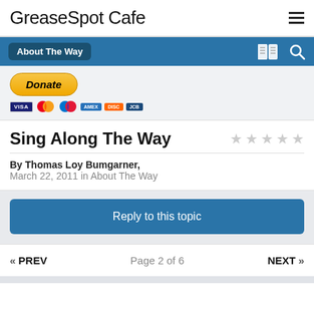GreaseSpot Cafe
About The Way
[Figure (other): PayPal Donate button with credit card icons (Visa, Mastercard, Maestro, American Express, Discover, and one more)]
Sing Along The Way
By Thomas Loy Bumgarner, March 22, 2011 in About The Way
Reply to this topic
« PREV  Page 2 of 6  NEXT »